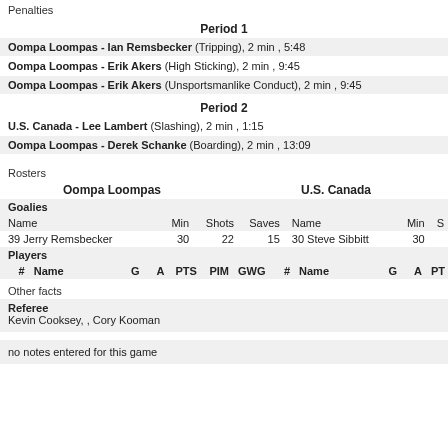Penalties
Period 1
Oompa Loompas - Ian Remsbecker (Tripping), 2 min , 5:48
Oompa Loompas - Erik Akers (High Sticking), 2 min , 9:45
Oompa Loompas - Erik Akers (Unsportsmanlike Conduct), 2 min , 9:45
Period 2
U.S. Canada - Lee Lambert (Slashing), 2 min , 1:15
Oompa Loompas - Derek Schanke (Boarding), 2 min , 13:09
Rosters
| Name | Min | Shots | Saves | Name | Min | S |
| --- | --- | --- | --- | --- | --- | --- |
| 39 Jerry Remsbecker | 30 | 22 | 15 | 30 Steve Sibbitt | 30 |  |
| # | Name | G | A | PTS | PIM | GWG | # | Name | G | A | PT |
| --- | --- | --- | --- | --- | --- | --- | --- | --- | --- | --- | --- |
Other facts
Referee
Kevin Cooksey, , Cory Kooman
no notes entered for this game